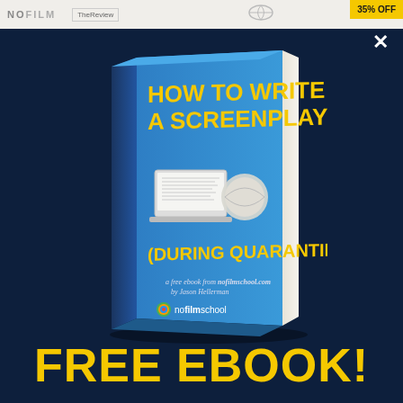No Film School - TheReview - 35% OFF
[Figure (illustration): Book cover titled 'How To Write A Screenplay (During Quarantine)' — a free ebook from nofilmschool.com by Jason Hellerman, with nofilmschool logo. Blue cover with yellow title text and laptop/mask icon. Book shown in 3D perspective.]
FREE EBOOK!